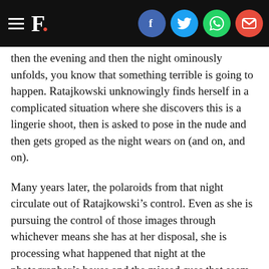F. [Firstpost logo with social share icons: Facebook, Twitter, WhatsApp, Email]
then the evening and then the night ominously unfolds, you know that something terrible is going to happen. Ratajkowski unknowingly finds herself in a complicated situation where she discovers this is a lingerie shoot, then is asked to pose in the nude and then gets groped as the night wears on (and on, and on).
Many years later, the polaroids from that night circulate out of Ratajkowski’s control. Even as she is pursuing the control of those images through whichever means she has at her disposal, she is processing what happened that night at the photographer’s house and the missed cues that seem obvious in retrospect. A sense of foreboding and being watched, that it’s too late in the night to do shoots, that it’s only her and the photographer, that it turns out to be a lingerie shoot, something she hasn’t been informed of before.
Ratajkowski’s story is familiar for